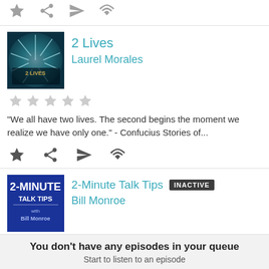[Figure (screenshot): Top row of action icons (star, share, send, wifi) greyed out at top of page]
[Figure (screenshot): 2 Lives podcast card with teal album art, title '2 Lives', author 'Laurel Morales', 5 grey stars, description text and action icons]
"We all have two lives. The second begins the moment we realize we have only one." - Confucius Stories of...
[Figure (screenshot): 2-Minute Talk Tips podcast card with blue/white logo, INACTIVE badge, author Bill Monroe, 5 grey stars, description text]
2-Minute Talk Tips helps you become a more effective speaker in as little as 2 minutes a week. Each episode
You don't have any episodes in your queue
Start to listen to an episode